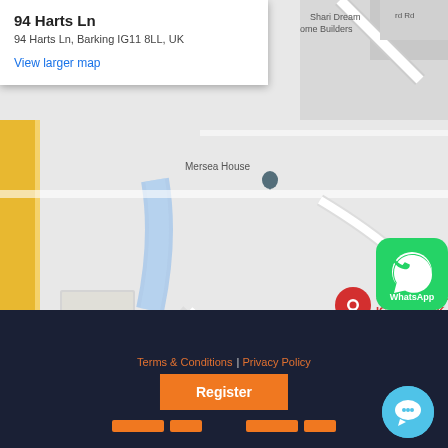[Figure (map): Google Maps screenshot showing location at 94 Harts Ln, Barking IG11 8LL, UK. Map shows surrounding streets including Cowbridge Ln, A124, nearby landmarks: Abbey Nursery, Mersea House, Abbey Community Centre, Gurdwara Singh Sabha London East, Common S by Dr Hamed. A blue river runs through the map. Red pin marks the address. Zoom controls (+/-) visible on right side.]
94 Harts Ln
94 Harts Ln, Barking IG11 8LL, UK
View larger map
94 Harts Ln, Barking IG11 8LL, UK
Terms & Conditions | Privacy Policy
Register